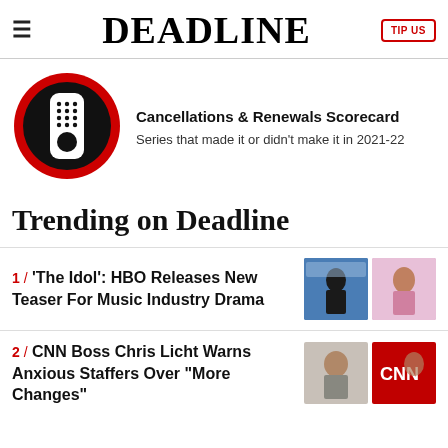DEADLINE
[Figure (illustration): Red and black circular icon with a TV remote control]
Cancellations & Renewals Scorecard
Series that made it or didn't make it in 2021-22
Trending on Deadline
1 / 'The Idol': HBO Releases New Teaser For Music Industry Drama
2 / CNN Boss Chris Licht Warns Anxious Staffers Over "More Changes"